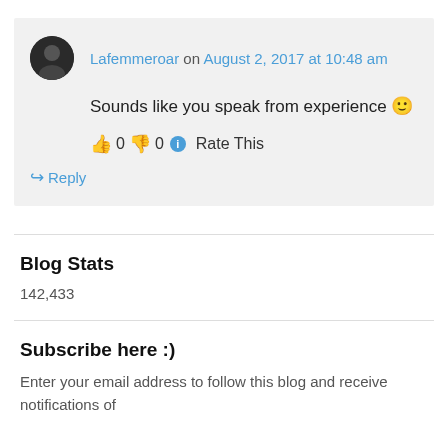Lafemmeroar on August 2, 2017 at 10:48 am
Sounds like you speak from experience 🙂
👍 0 👎 0 ℹ Rate This
↪ Reply
Blog Stats
142,433
Subscribe here :)
Enter your email address to follow this blog and receive notifications of